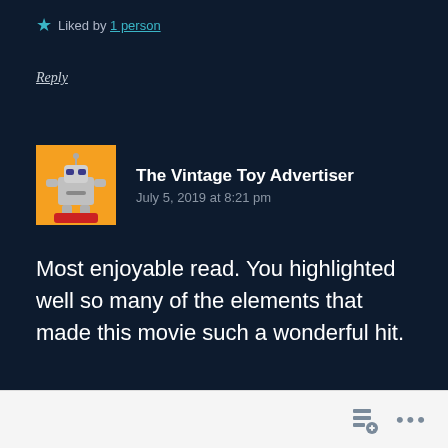Liked by 1 person
Reply
The Vintage Toy Advertiser
July 5, 2019 at 8:21 pm
Most enjoyable read. You highlighted well so many of the elements that made this movie such a wonderful hit.